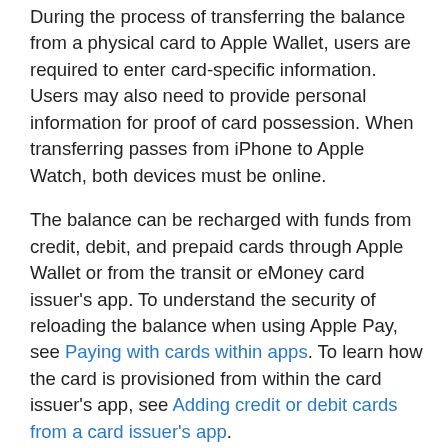During the process of transferring the balance from a physical card to Apple Wallet, users are required to enter card-specific information. Users may also need to provide personal information for proof of card possession. When transferring passes from iPhone to Apple Watch, both devices must be online.
The balance can be recharged with funds from credit, debit, and prepaid cards through Apple Wallet or from the transit or eMoney card issuer's app. To understand the security of reloading the balance when using Apple Pay, see Paying with cards within apps. To learn how the card is provisioned from within the card issuer's app, see Adding credit or debit cards from a card issuer's app.
If provisioning from a physical card is supported